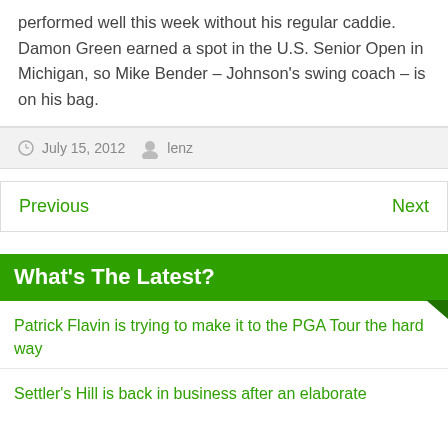performed well this week without his regular caddie. Damon Green earned a spot in the U.S. Senior Open in Michigan, so Mike Bender – Johnson's swing coach – is on his bag.
July 15, 2012   lenz
Previous   Next
What's The Latest?
Patrick Flavin is trying to make it to the PGA Tour the hard way
Settler's Hill is back in business after an elaborate